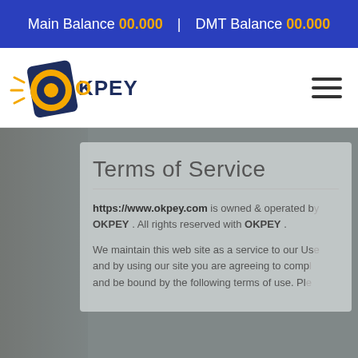Main Balance 00.000  |  DMT Balance 00.000
[Figure (logo): OKPEY logo with orange circular icon and navy blue card/phone graphic with text OKPEY]
Terms of Service
https://www.okpey.com is owned & operated by OKPEY . All rights reserved with OKPEY .
We maintain this web site as a service to our Users and by using our site you are agreeing to comply and be bound by the following terms of use. Pl... review the following terms and conditions...